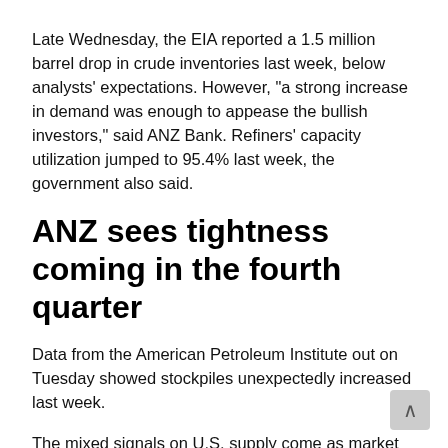Late Wednesday, the EIA reported a 1.5 million barrel drop in crude inventories last week, below analysts' expectations. However, "a strong increase in demand was enough to appease the bullish investors," said ANZ Bank. Refiners' capacity utilization jumped to 95.4% last week, the government also said.
ANZ sees tightness coming in the fourth quarter
Data from the American Petroleum Institute out on Tuesday showed stockpiles unexpectedly increased last week.
The mixed signals on U.S. supply come as market players globally await signs that production caps led by OPEC and Russia are making notable dents into still-historically high global supplies. ANZ sees tightness coming in the fourth quarter, pushing oil prices into the high-$50s.